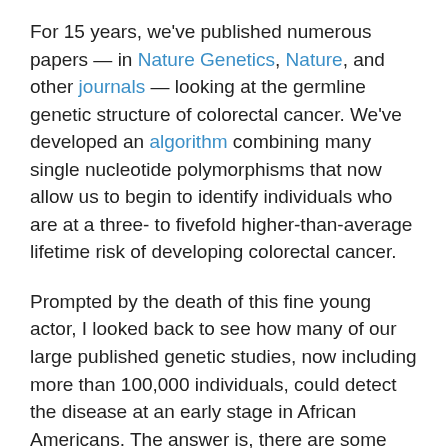For 15 years, we've published numerous papers — in Nature Genetics, Nature, and other journals — looking at the germline genetic structure of colorectal cancer. We've developed an algorithm combining many single nucleotide polymorphisms that now allow us to begin to identify individuals who are at a three- to fivefold higher-than-average lifetime risk of developing colorectal cancer.
Prompted by the death of this fine young actor, I looked back to see how many of our large published genetic studies, now including more than 100,000 individuals, could detect the disease at an early stage in African Americans. The answer is, there are some large data gaps. The vast majority of all the data that we collect is based on White patients and controls. In collaboration with colleagues in China and Japan, we're extending our understanding of the genetic basis of this disease in Asian populations. Although there are some relatively small substudies in Africa and in African Americans, it